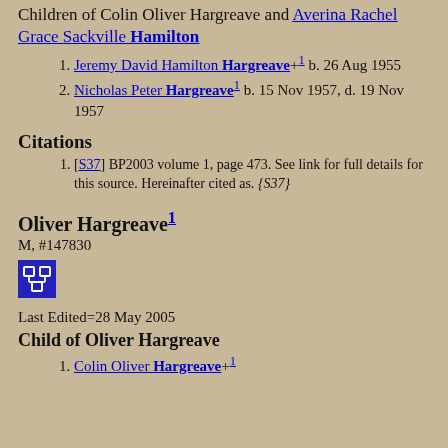Children of Colin Oliver Hargreave and Averina Rachel Grace Sackville Hamilton
Jeremy David Hamilton Hargreave+1 b. 26 Aug 1955
Nicholas Peter Hargreave1 b. 15 Nov 1957, d. 19 Nov 1957
Citations
[S37] BP2003 volume 1, page 473. See link for full details for this source. Hereinafter cited as. {S37}
Oliver Hargreave1
M, #147830
[Figure (other): Small blue icon with a genealogy/family tree symbol]
Last Edited=28 May 2005
Child of Oliver Hargreave
Colin Oliver Hargreave+1